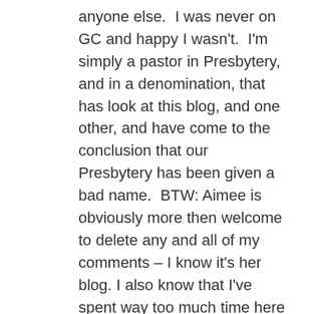anyone else.  I was never on GC and happy I wasn't.  I'm simply a pastor in Presbytery, and in a denomination, that has look at this blog, and one other, and have come to the conclusion that our Presbytery has been given a bad name.  BTW: Aimee is obviously more then welcome to delete any and all of my comments – I know it's her blog. I also know that I've spent way too much time here the past two days. I will repent in dust and ashes. Again, I came here to ask a simple question, and finally got an answer.  Period.  I'm happy with the answer. I sure do wish it would have